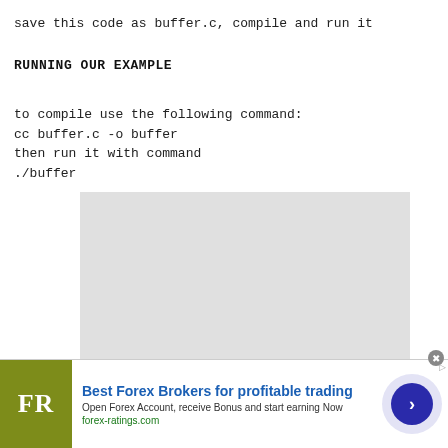save this code as buffer.c, compile and run it
RUNNING OUR EXAMPLE
to compile use the following command:
cc buffer.c -o buffer
then run it with command
./buffer
[Figure (other): Gray placeholder box representing a terminal or image output area]
[Figure (other): Advertisement banner: Best Forex Brokers for profitable trading - forex-ratings.com]